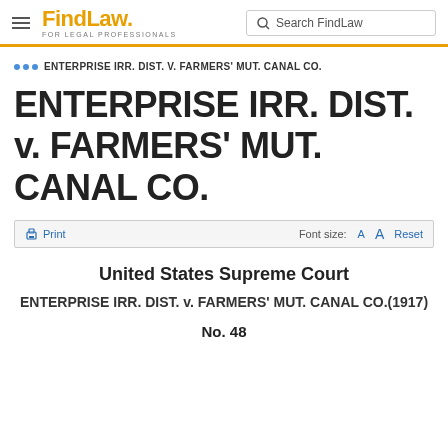FindLaw FOR LEGAL PROFESSIONALS — Search FindLaw
... ENTERPRISE IRR. DIST. V. FARMERS' MUT. CANAL CO.
ENTERPRISE IRR. DIST. v. FARMERS' MUT. CANAL CO.
Print  Font size: A A Reset
United States Supreme Court
ENTERPRISE IRR. DIST. v. FARMERS' MUT. CANAL CO.(1917)
No. 48